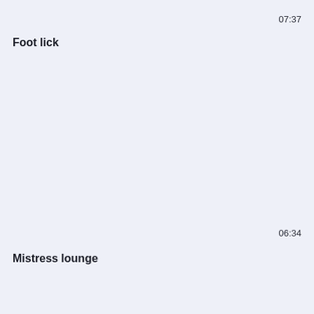07:37
Foot lick
06:34
Mistress lounge